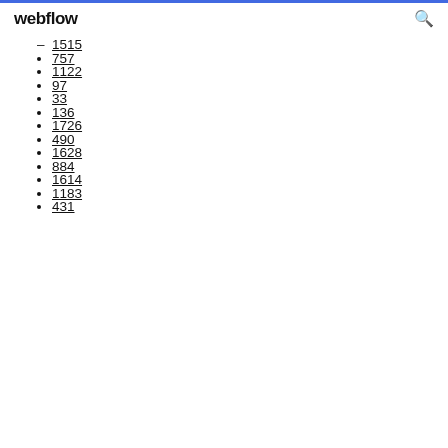webflow
1515
757
1122
97
33
136
1726
490
1628
884
1614
1183
431